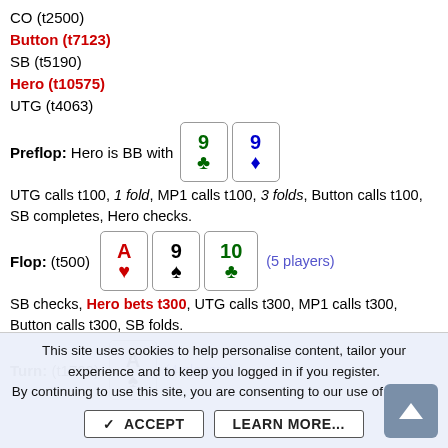CO (t2500)
Button (t7123)
SB (t5190)
Hero (t10575)
UTG (t4063)
Preflop: Hero is BB with 9♣ 9♦
UTG calls t100, 1 fold, MP1 calls t100, 3 folds, Button calls t100, SB completes, Hero checks.
Flop: (t500) A♥ 9♠ 10♣ (5 players)
SB checks, Hero bets t300, UTG calls t300, MP1 calls t300, Button calls t300, SB folds.
Turn: (t1700) A♠ (4 players)
This site uses cookies to help personalise content, tailor your experience and to keep you logged in if you register. By continuing to use this site, you are consenting to our use of cookies.